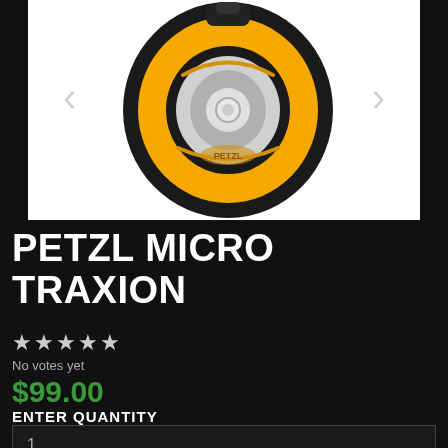[Figure (photo): Product photo of Petzl Micro Traxion pulley device — yellow and black mechanical pulley with silver wheel, shown on white background with left and right navigation arrows]
PETZL MICRO TRAXION
★★★★★
No votes yet
$99.00
ENTER QUANTITY
1